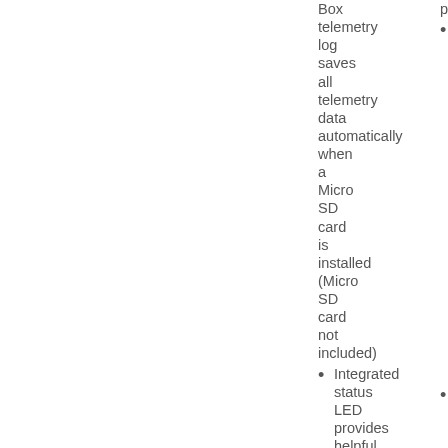Black Box telemetry log saves all telemetry data automatically when a Micro SD card is installed (Micro SD card not included)
Integrated status LED provides helpful information during
and process
Integrated telemetry with built-in ports for RPM, flight pack voltage, temperature sensors and X-bus for telemetry sensor expansion
Optional fourth SRXL2 remote receiver